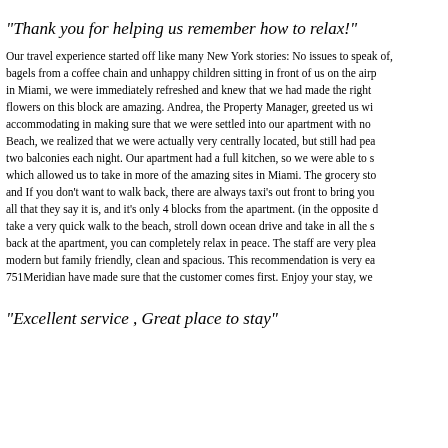"Thank you for helping us remember how to relax!"
Our travel experience started off like many New York stories: No issues to speak of, bagels from a coffee chain and unhappy children sitting in front of us on the airp in Miami, we were immediately refreshed and knew that we had made the right flowers on this block are amazing. Andrea, the Property Manager, greeted us wi accommodating in making sure that we were settled into our apartment with no Beach, we realized that we were actually very centrally located, but still had pea two balconies each night. Our apartment had a full kitchen, so we were able to s which allowed us to take in more of the amazing sites in Miami. The grocery sto and If you don't want to walk back, there are always taxi's out front to bring you all that they say it is, and it's only 4 blocks from the apartment. (in the opposite d take a very quick walk to the beach, stroll down ocean drive and take in all the s back at the apartment, you can completely relax in peace. The staff are very plea modern but family friendly, clean and spacious. This recommendation is very ea 751Meridian have made sure that the customer comes first. Enjoy your stay, we
"Excellent service , Great place to stay"